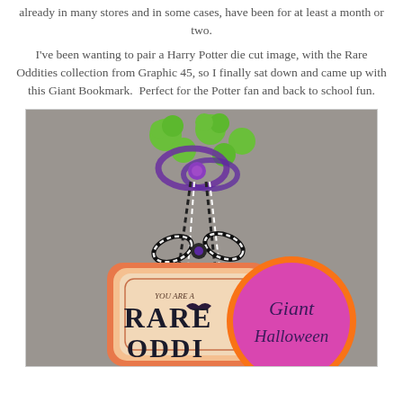already in many stores and in some cases, have been for at least a month or two.
I've been wanting to pair a Harry Potter die cut image, with the Rare Oddities collection from Graphic 45, so I finally sat down and came up with this Giant Bookmark.  Perfect for the Potter fan and back to school fun.
[Figure (photo): Photo of a handmade giant bookmark with green pom-poms and purple yarn at the top, black and white twine bow, and a decorative tag reading 'YOU ARE A RARE ODDI...' alongside a circular orange and purple label reading 'Giant Halloween...']